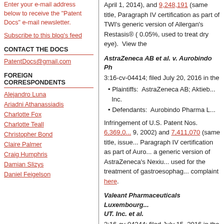Enter your e-mail address below to receive the "Patent Docs" e-mail newsletter.
Subscribe to this blog's feed
CONTACT THE DOCS
PatentDocs@gmail.com
FOREIGN CORRESPONDENTS
Alejandro Luna
Ariadni Athanassiadis
Charlotte Fox
Charlotte Teall
Christopher Bond
Claire Palmer
Craig Humphris
Damian Slizys
Daniel Feigelson
April 1, 2014), and 9,248,191 (same title, Paragraph IV certification as part of TWI's generic version of Allergan's Restasis® (0.05%, used to treat dry eye). View the
AstraZeneca AB et al. v. Aurobindo Ph...
3:16-cv-04414; filed July 20, 2016 in the
Plaintiffs: AstraZeneca AB; Aktieb... Inc.
Defendants: Aurobindo Pharma L...
Infringement of U.S. Patent Nos. 6,369,0... 9, 2002) and 7,411,070 (same title, issue... Paragraph IV certification as part of Auro... a generic version of AstraZeneca's Nexiu... used for the treatment of gastroesophag... complaint here.
Valeant Pharmaceuticals Luxembourg... UT. Inc. et al.
2:16-cv-04344; filed July 15, 2016 in the